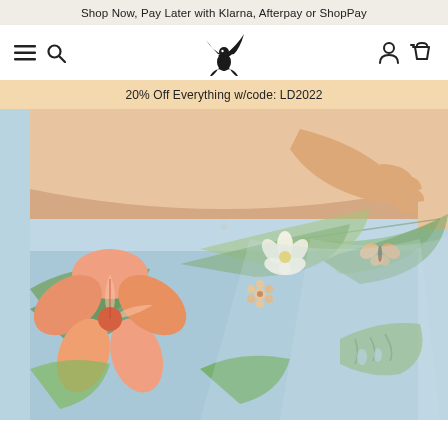Shop Now, Pay Later with Klarna, Afterpay or ShopPay
[Figure (logo): Navigation bar with hamburger menu, search icon, bird logo (flying bird silhouette), account icon, and cart icon]
20% Off Everything w/code: LD2022
[Figure (photo): Close-up photo of a person wearing tropical floral print leggings with hibiscus, palm leaves and other flowers on a light blue background. The model's torso is visible from waist area down showing the high waist of the leggings.]